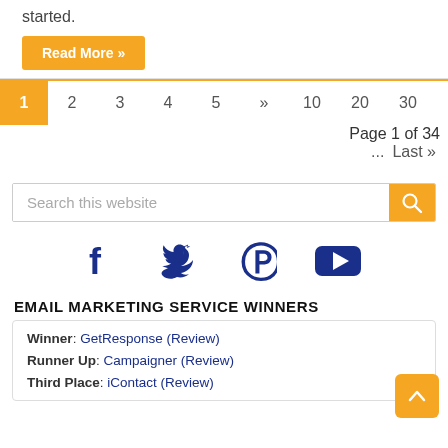started.
Read More »
1  2  3  4  5  »  10  20  30   Page 1 of 34
...  Last »
Search this website
[Figure (illustration): Social media icons: Facebook, Twitter, Pinterest, YouTube in dark blue]
EMAIL MARKETING SERVICE WINNERS
Winner: GetResponse (Review)
Runner Up: Campaigner (Review)
Third Place: iContact (Review)